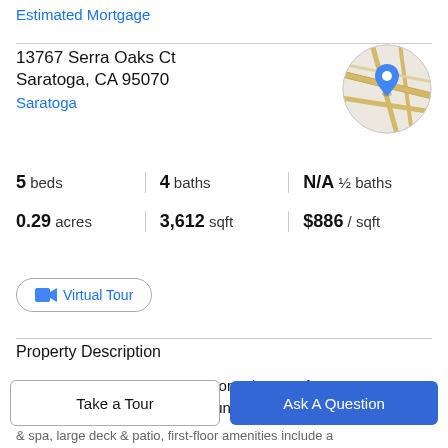Estimated Mortgage
13767 Serra Oaks Ct
Saratoga, CA 95070
Saratoga
[Figure (map): Circular map thumbnail showing street map with blue location pin marker]
5 beds | 4 baths | N/A ½ baths
0.29 acres | 3,612 sqft | $886 / sqft
Virtual Tour
Property Description
This 5BD/4 BA 3,612 SQ.FT. home in one of Saratoga's most prestigious locations offers abundant luxuries in a
Take a Tour
Ask A Question
& spa, large deck & patio, first-floor amenities include a